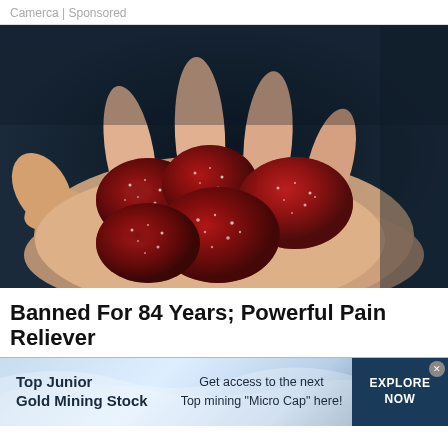Camerca | Sponsored
[Figure (photo): A hand holding several dark red sugar-coated gummy candies against a dark background]
Banned For 84 Years; Powerful Pain Reliever
[Figure (infographic): Banner advertisement: Top Junior Gold Mining Stock — Get access to the next Top mining "Micro Cap" here! — EXPLORE NOW]